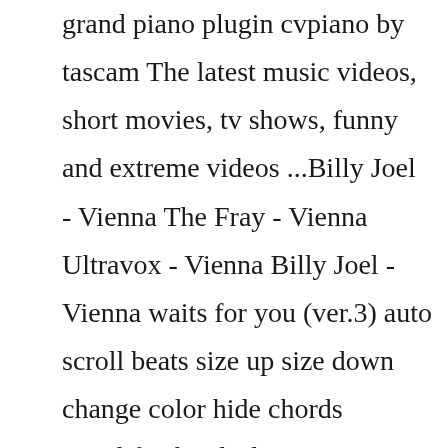grand piano plugin cvpiano by tascam The latest music videos, short movies, tv shows, funny and extreme videos ...Billy Joel - Vienna The Fray - Vienna Ultravox - Vienna Billy Joel - Vienna waits for you (ver.3) auto scroll beats size up size down change color hide chords simplify chords drawings columns show chords YouTube Clip hide all tabs go to top Vienna is a song from Billy Joel\'s 1977 album The Stranger, released as the B-side to his \ Feb 10, 2016 - Free